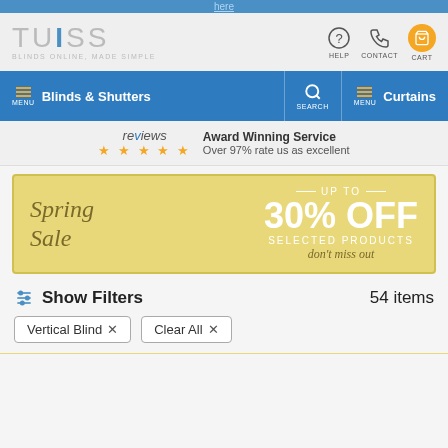here
[Figure (logo): TUISS logo with tagline BLINDS ONLINE, MADE SIMPLE and navigation icons for HELP, CONTACT, CART]
[Figure (screenshot): Navigation bar with Blinds & Shutters menu, SEARCH, and Curtains menu]
[Figure (infographic): Reviews section showing 5 stars and Award Winning Service, Over 97% rate us as excellent]
[Figure (illustration): Spring Sale banner: UP TO 30% OFF SELECTED PRODUCTS, don't miss out]
Show Filters   54 items
Vertical Blind ×
Clear All ×